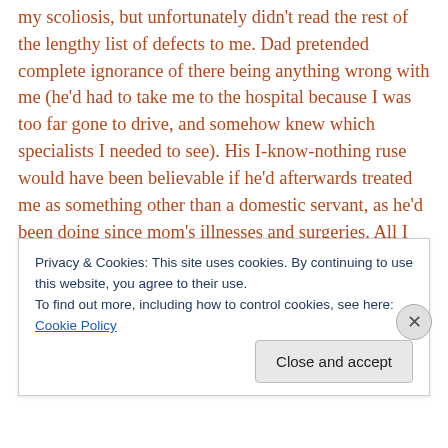my scoliosis, but unfortunately didn't read the rest of the lengthy list of defects to me. Dad pretended complete ignorance of there being anything wrong with me (he'd had to take me to the hospital because I was too far gone to drive, and somehow knew which specialists I needed to see). His I-know-nothing ruse would have been believable if he'd afterwards treated me as something other than a domestic servant, as he'd been doing since mom's illnesses and surgeries. All I ever remember dad saying about my birth was that I looked like a hairy hot dog or a scrawny baby monkey. My weight was healthy, 6 lbs, but I
Privacy & Cookies: This site uses cookies. By continuing to use this website, you agree to their use.
To find out more, including how to control cookies, see here: Cookie Policy